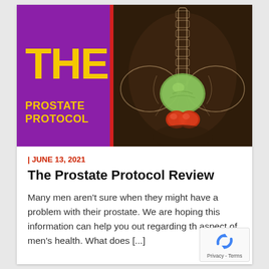[Figure (illustration): Top banner image showing 'THE PROSTATE PROTOCOL' title on a purple background panel on the left with large yellow bold text, a red vertical divider line, and a medical anatomical illustration of the male pelvic region on a dark brown background showing spine, pelvis, bladder (green), and prostate (red/orange) in an x-ray style render.]
| JUNE 13, 2021
The Prostate Protocol Review
Many men aren’t sure when they might have a problem with their prostate. We are hoping this information can help you out regarding th aspect of men’s health. What does [...]